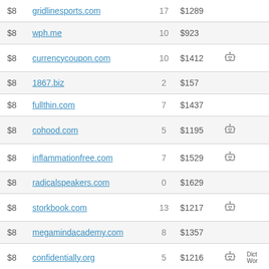| Price | Domain | Count | Value | Icon | Extra |
| --- | --- | --- | --- | --- | --- |
| $8 | gridlinesports.com | 17 | $1289 |  |  |
| $8 | wph.me | 10 | $923 |  |  |
| $8 | currencycoupon.com | 10 | $1412 | robot |  |
| $8 | 1867.biz | 2 | $157 |  |  |
| $8 | fullthin.com | 7 | $1437 |  |  |
| $8 | cohood.com | 5 | $1195 | robot |  |
| $8 | inflammationfree.com | 7 | $1529 | robot |  |
| $8 | radicalspeakers.com | 0 | $1629 |  |  |
| $8 | storkbook.com | 13 | $1217 | robot |  |
| $8 | megamindacademy.com | 8 | $1357 |  |  |
| $8 | confidentially.org | 5 | $1216 | robot | Dict Wor |